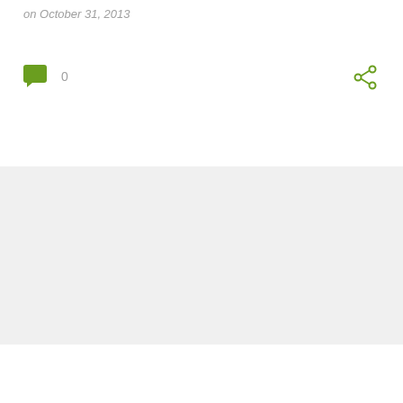on October 31, 2013
[Figure (illustration): Green speech bubble comment icon with count 0, and green share icon on the right]
0